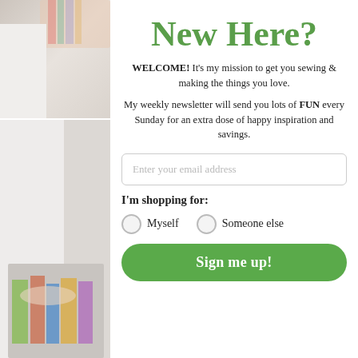[Figure (photo): Top photo strip showing a partial view of colorful fabric or textile item on a light background]
[Figure (photo): Bottom photo showing a person holding colorful fabric swatches or a quilted item]
New Here?
WELCOME! It's my mission to get you sewing & making the things you love.
My weekly newsletter will send you lots of FUN every Sunday for an extra dose of happy inspiration and savings.
Enter your email address
I'm shopping for:
Myself   Someone else
Sign me up!